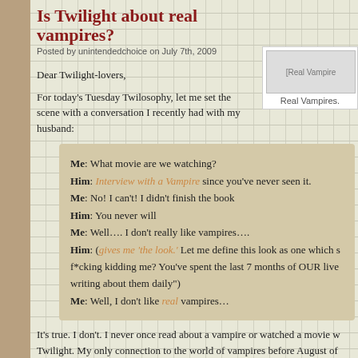Is Twilight about real vampires?
Posted by unintendedchoice on July 7th, 2009
Dear Twilight-lovers,
For today’s Tuesday Twilosophy, let me set the scene with a conversation I recently had with my husband:
[Figure (photo): Real Vampires image with caption 'Real Vampires']
Me: What movie are we watching?
Him: Interview with a Vampire since you’ve never seen it.
Me: No! I can’t! I didn’t finish the book
Him: You never will
Me: Well…. I don’t really like vampires….
Him: (gives me ‘the look.’ Let me define this look as one which s f*cking kidding me? You’ve spent the last 7 months of OUR live writing about them daily")
Me: Well, I don’t like real vampires…
It’s true. I don’t. I never once read about a vampire or watched a movie w Twilight. My only connection to the world of vampires before August of 200 cereal. And after Twilight was recommended to me and I bought the first b anything about it because I was desperate for a quick read for my beach vaca infamous lines on the back of the cover:
About three things I was absolutely positive. First, Edward was a v